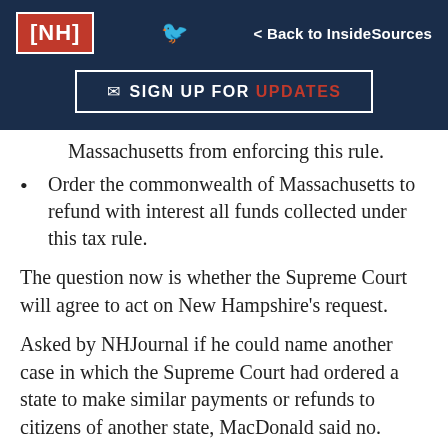[Figure (logo): NH Journal logo in red box with white bracket text [NH]]
[Figure (infographic): Sign up for updates button with envelope icon in dark navy header]
Massachusetts from enforcing this rule.
Order the commonwealth of Massachusetts to refund with interest all funds collected under this tax rule.
The question now is whether the Supreme Court will agree to act on New Hampshire's request.
Asked by NHJournal if he could name another case in which the Supreme Court had ordered a state to make similar payments or refunds to citizens of another state, MacDonald said no.
The Massachusetts Department of Revenue (DOR) insists its actions are legal, and it insists it's